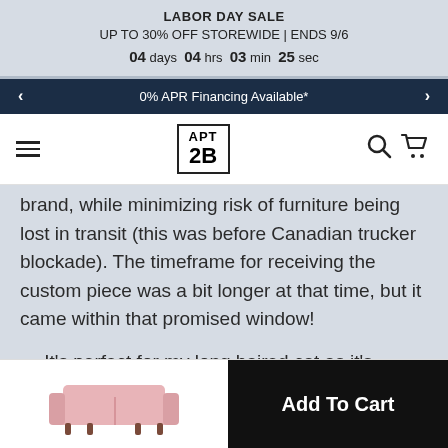LABOR DAY SALE
UP TO 30% OFF STOREWIDE | ENDS 9/6
04 days 04 hrs 03 min 25 sec
0% APR Financing Available*
APT 2B (logo)
brand, while minimizing risk of furniture being lost in transit (this was before Canadian trucker blockade). The timeframe for receiving the custom piece was a bit longer at that time, but it came within that promised window!
— It's perfect for my long haired cat as it's incr[edibly] easy to remove her fur and it doesn't go throu[gh] the fabric.
[Figure (photo): Pink sofa/couch product thumbnail image]
Add To Cart